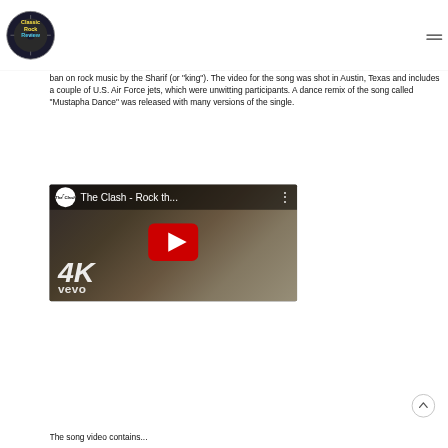Classic Rock Review
ban on rock music by the Sharif (or “king”). The video for the song was shot in Austin, Texas and includes a couple of U.S. Air Force jets, which were unwitting participants. A dance remix of the song called “Mustapha Dance” was released with many versions of the single.
[Figure (screenshot): YouTube video thumbnail for The Clash - Rock th... showing the band with a 4K vevo label and YouTube play button overlay]
The song video contains...